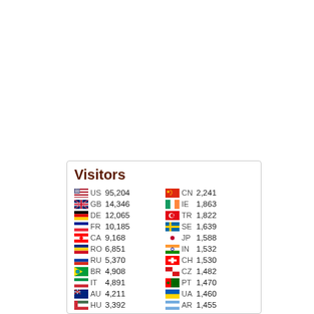Visitors
| Flag | CC | Count | Flag | CC | Count |
| --- | --- | --- | --- | --- | --- |
| US | 95,204 | CN | 2,241 |
| GB | 14,346 | IE | 1,863 |
| DE | 12,065 | TR | 1,822 |
| FR | 10,185 | SE | 1,639 |
| CA | 9,168 | JP | 1,588 |
| RO | 6,851 | IN | 1,532 |
| RU | 5,370 | CH | 1,530 |
| BR | 4,908 | CZ | 1,482 |
| IT | 4,891 | PT | 1,470 |
| AU | 4,211 | UA | 1,460 |
| HU | 3,392 | AR | 1,455 |